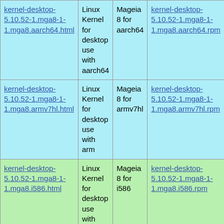| Package | Description | Distribution | RPM |
| --- | --- | --- | --- |
| kernel-desktop-5.10.52-1.mga8-1-1.mga8.aarch64.html | Linux Kernel for desktop use with aarch64 | Mageia 8 for aarch64 | kernel-desktop-5.10.52-1.mga8-1-1.mga8.aarch64.rpm |
| kernel-desktop-5.10.52-1.mga8-1-1.mga8.armv7hl.html | Linux Kernel for desktop use with arm | Mageia 8 for armv7hl | kernel-desktop-5.10.52-1.mga8-1-1.mga8.armv7hl.rpm |
| kernel-desktop-5.10.52-1.mga8-1-1.mga8.i586.html | Linux Kernel for desktop use with i686 and less than 4GB RAM | Mageia 8 for i586 | kernel-desktop-5.10.52-1.mga8-1-1.mga8.i586.rpm |
| kernel-desktop- | Linux Kernel for | Mageia | kernel-desktop- |